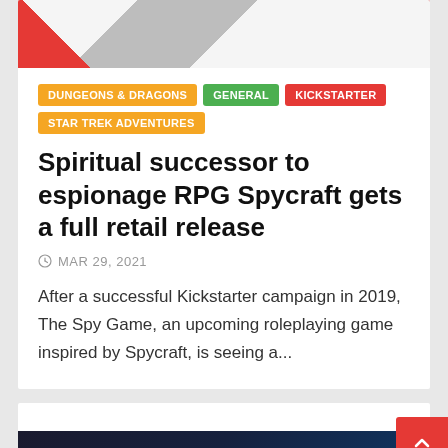[Figure (illustration): Colorful action/comic-style artwork banner at the top of the card]
DUNGEONS & DRAGONS
GENERAL
KICKSTARTER
STAR TREK ADVENTURES
Spiritual successor to espionage RPG Spycraft gets a full retail release
MAR 29, 2021
After a successful Kickstarter campaign in 2019, The Spy Game, an upcoming roleplaying game inspired by Spycraft, is seeing a...